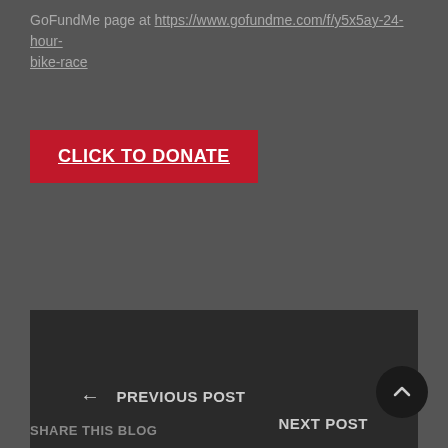GoFundMe page at https://www.gofundme.com/f/y5x5ay-24-hour-bike-race
[Figure (other): Red CLICK TO DONATE button with white underlined bold text]
[Figure (other): Dark navigation box with PREVIOUS POST (left arrow) and NEXT POST links]
[Figure (other): Dark circular scroll-to-top button with upward chevron arrow]
SHARE THIS BLOG